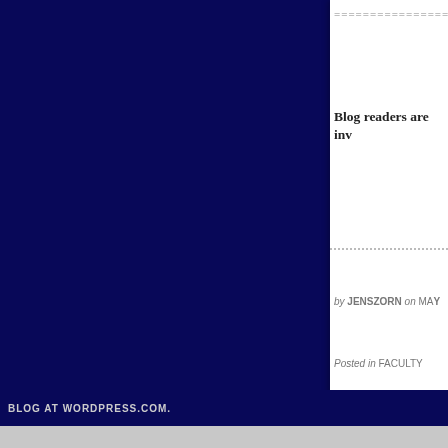================
Blog readers are inv
by JENSZORN on MAY
Posted in FACULTY
Tagged APPLIED PHY
BLOG AT WORDPRESS.COM.